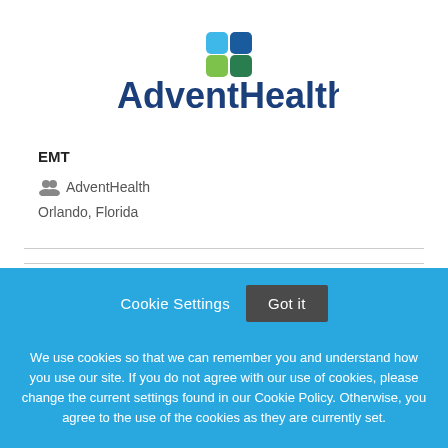[Figure (logo): AdventHealth logo with four colored leaf/square shapes (blue, teal, green, dark green) above the text 'AdventHealth' in dark blue bold font]
EMT
👥 AdventHealth
Orlando, Florida
Cookie Settings   Got it
We use cookies so that we can remember you and understand how you use our site. If you do not agree with our use of cookies, please change the current settings found in our Cookie Policy. Otherwise, you agree to the use of the cookies as they are currently set.